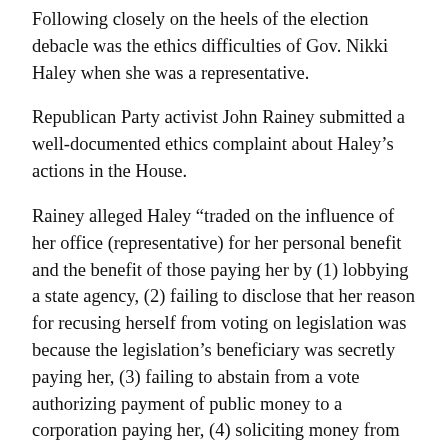Following closely on the heels of the election debacle was the ethics difficulties of Gov. Nikki Haley when she was a representative.
Republican Party activist John Rainey submitted a well-documented ethics complaint about Haley's actions in the House.
Rainey alleged Haley “traded on the influence of her office (representative) for her personal benefit and the benefit of those paying her by (1) lobbying a state agency, (2) failing to disclose that her reason for recusing herself from voting on legislation was because the legislation’s beneficiary was secretly paying her, (3) failing to abstain from a vote authorizing payment of public money to a corporation paying her, (4) soliciting money from registered lobbyists and lobbyist principals for the benefit of her employer and (5) concealing all of this activity by making false and incomplete public disclosures.”